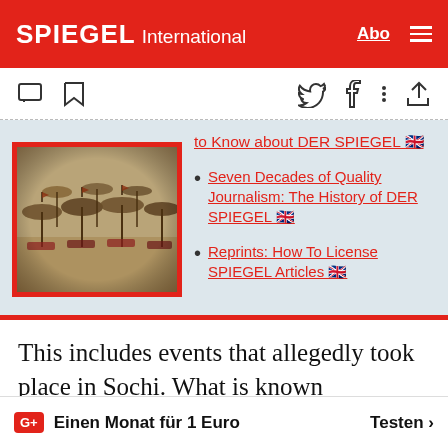SPIEGEL International
[Figure (screenshot): SPIEGEL International website toolbar with comment, bookmark, Twitter, Facebook, share icons]
[Figure (photo): Beach scene with straw umbrellas and lounge chairs in sepia/vintage tones]
to Know about DER SPIEGEL 🇬🇧
Seven Decades of Quality Journalism: The History of DER SPIEGEL 🇬🇧
Reprints: How To License SPIEGEL Articles 🇬🇧
This includes events that allegedly took place in Sochi. What is known ab them is largely
G+ Einen Monat für 1 Euro   Testen >